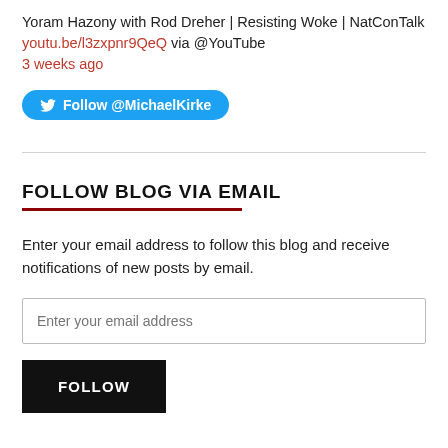Yoram Hazony with Rod Dreher | Resisting Woke | NatConTalk youtu.be/l3zxpnr9QeQ via @YouTube
3 weeks ago
[Figure (other): Blue Twitter Follow button with bird icon labeled 'Follow @MichaelKirke']
FOLLOW BLOG VIA EMAIL
Enter your email address to follow this blog and receive notifications of new posts by email.
Enter your email address
FOLLOW